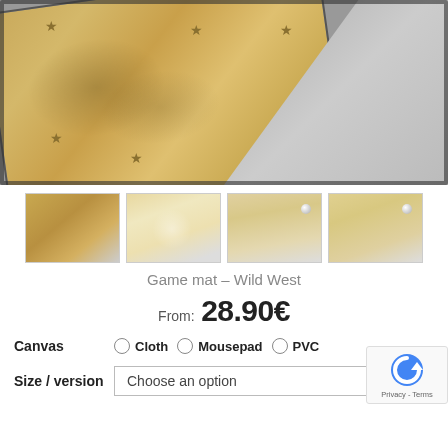[Figure (photo): Main product photo of a sandy/desert themed game mat (Wild West) showing a textured sandy surface with star markings, overlaid on a gray background. Below are four thumbnail images showing detail views of the mat.]
Game mat – Wild West
From: 28.90€
Canvas  ○ Cloth ○ Mousepad ○ PVC
Size / version  Choose an option